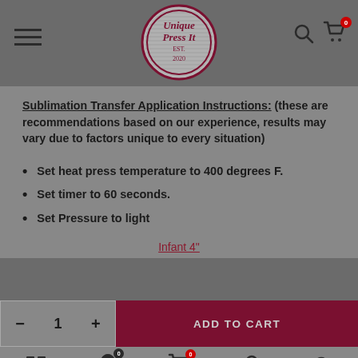[Figure (logo): Unique Press It logo — circular badge with decorative text, dark red/maroon border]
Sublimation Transfer Application Instructions: (these are recommendations based on our experience, results may vary due to factors unique to every situation)
Set heat press temperature to 400 degrees F.
Set timer to 60 seconds.
Set Pressure to light
Infant 4"
− 1 + ADD TO CART